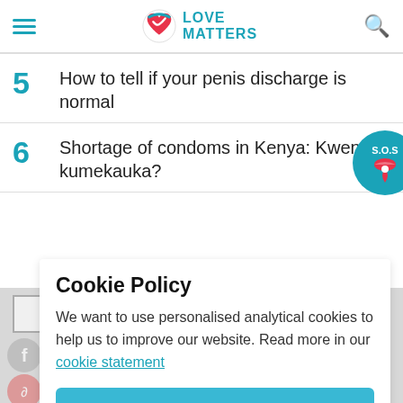Love Matters
5  How to tell if your penis discharge is normal
6  Shortage of condoms in Kenya: Kwenu kumekauka?
Cookie Policy
We want to use personalised analytical cookies to help us to improve our website. Read more in our cookie statement
YES